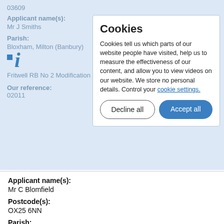03609
Applicant name(s):
Mr J Smiths
Parish:
Bloxham, Milton (Banbury)
Fritwell RB No 2 Modification Order 2019
Our reference:
02011
Cookies
Cookies tell us which parts of our website people have visited, help us to measure the effectiveness of our content, and allow you to view videos on our website. We store no personal details. Control your cookie settings.
Applicant name(s):
Mr C Blomfield
Postcode(s):
OX25 6NN
Parish:
Fritwell, Somerton, Upper Heyford